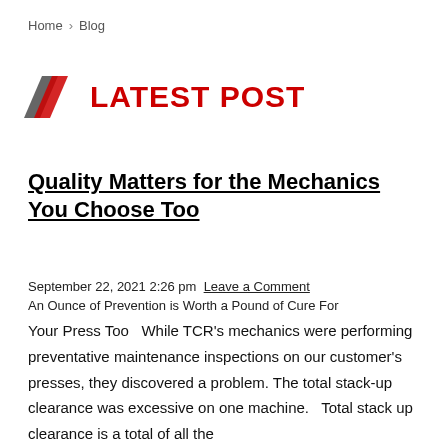Home > Blog
[Figure (logo): Two overlapping diagonal parallelogram shapes in dark gray and red forming a stylized angular logo mark, followed by the text LATEST POST in bold red capitals]
Quality Matters for the Mechanics You Choose Too
September 22, 2021 2:26 pm  Leave a Comment
An Ounce of Prevention is Worth a Pound of Cure For Your Press Too   While TCR's mechanics were performing preventative maintenance inspections on our customer's presses, they discovered a problem. The total stack-up clearance was excessive on one machine.   Total stack up clearance is a total of all the